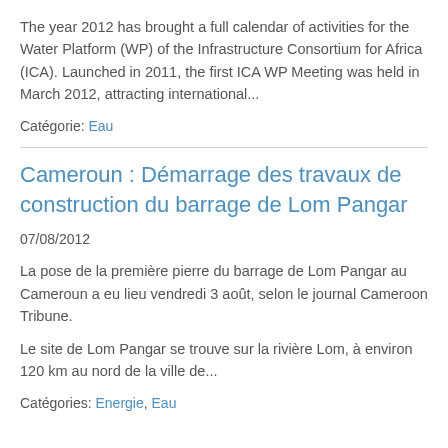The year 2012 has brought a full calendar of activities for the Water Platform (WP) of the Infrastructure Consortium for Africa (ICA). Launched in 2011, the first ICA WP Meeting was held in March 2012, attracting international...
Catégorie: Eau
Cameroun : Démarrage des travaux de construction du barrage de Lom Pangar
07/08/2012
La pose de la première pierre du barrage de Lom Pangar au Cameroun a eu lieu vendredi 3 août, selon le journal Cameroon Tribune.
Le site de Lom Pangar se trouve sur la rivière Lom, à environ 120 km au nord de la ville de...
Catégories: Energie, Eau